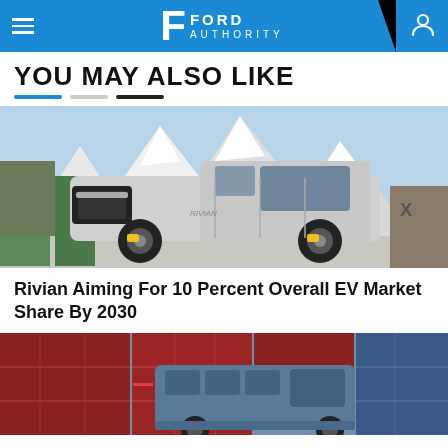Ford Authority
YOU MAY ALSO LIKE
[Figure (photo): Silver Rivian R1T electric pickup truck parked in snowy mountain setting]
Rivian Aiming For 10 Percent Overall EV Market Share By 2030
[Figure (photo): Blue electric delivery van among red shipping containers]